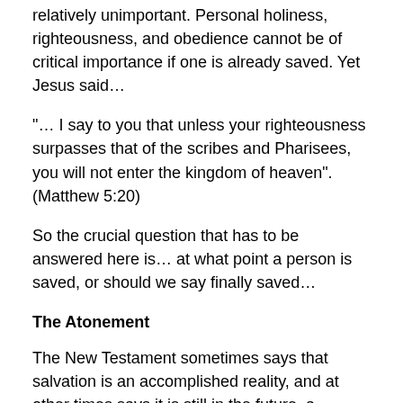relatively unimportant. Personal holiness, righteousness, and obedience cannot be of critical importance if one is already saved. Yet Jesus said…
“… I say to you that unless your righteousness surpasses that of the scribes and Pharisees, you will not enter the kingdom of heaven”. (Matthew 5:20)
So the crucial question that has to be answered here is… at what point a person is saved, or should we say finally saved…
The Atonement
The New Testament sometimes says that salvation is an accomplished reality, and at other times says it is still in the future, a seeming contradiction that is not limited to salvation alone. For example… [All Emphasis Added]